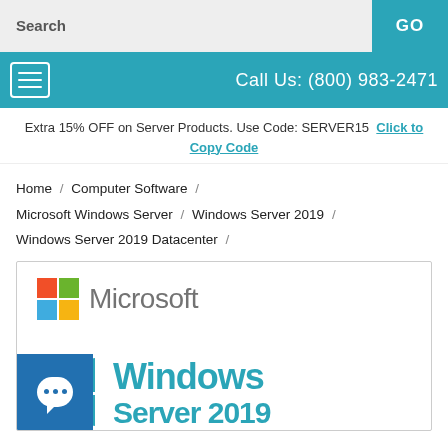Search | GO
Call Us: (800) 983-2471
Extra 15% OFF on Server Products. Use Code: SERVER15 Click to Copy Code
Home / Computer Software / Microsoft Windows Server / Windows Server 2019 / Windows Server 2019 Datacenter
[Figure (logo): Microsoft logo with four-color squares and Microsoft wordmark, followed by Windows Server 2019 product branding in teal color with Windows logo icon]